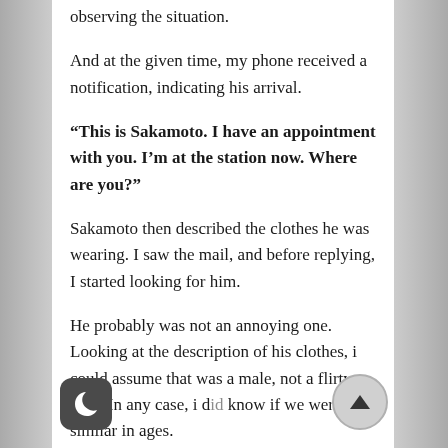observing the situation.
And at the given time, my phone received a notification, indicating his arrival.
“This is Sakamoto. I have an appointment with you. I’m at the station now. Where are you?”
Sakamoto then described the clothes he was wearing. I saw the mail, and before replying, I started looking for him.
He probably was not an annoying one. Looking at the description of his clothes, i could assume that was a male, not a flirty type. In any case, i did know if we were similar in ages.